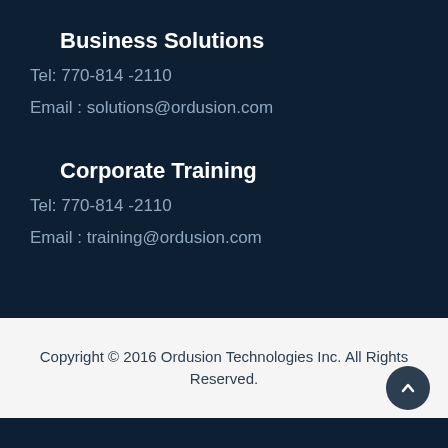Business Solutions
Tel: 770-814 -2110
Email : solutions@ordusion.com
Corporate Training
Tel: 770-814 -2110
Email : training@ordusion.com
Copyright © 2016 Ordusion Technologies Inc. All Rights Reserved.